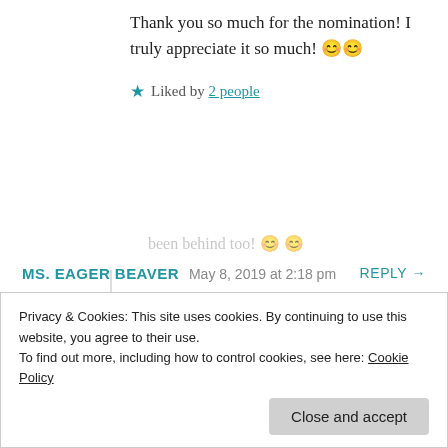Thank you so much for the nomination! I truly appreciate it so much! 😊😊
★ Liked by 2 people
MS. EAGER BEAVER   May 8, 2019 at 2:18 pm   REPLY →
Thank you so much! I am sincerely out of words for this overwhelming support, that the blogging community has been giving to my blog!😊
My pleasure, sincerely, it is! I genuinely like your blog and would have been a regular
been behind too! 😊 😊
Privacy & Cookies: This site uses cookies. By continuing to use this website, you agree to their use.
To find out more, including how to control cookies, see here: Cookie Policy
Close and accept